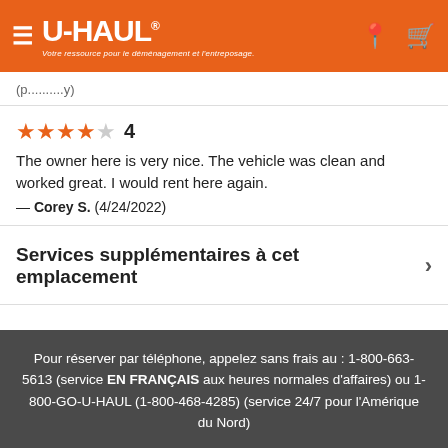U-HAUL® Votre ressource pour le déménagement et l'entreposage.
(partial text cut off)
★★★★☆ 4
The owner here is very nice. The vehicle was clean and worked great. I would rent here again.
— Corey S. (4/24/2022)
Services supplémentaires à cet emplacement
Pour réserver par téléphone, appelez sans frais au : 1-800-663-5613 (service EN FRANÇAIS aux heures normales d'affaires) ou 1-800-GO-U-HAUL (1-800-468-4285) (service 24/7 pour l'Amérique du Nord)